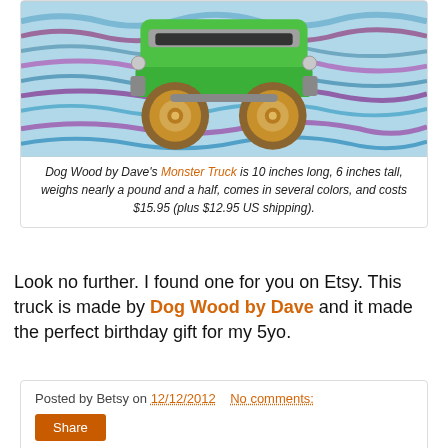[Figure (photo): Photo of a green wooden monster truck toy with wooden wheels on a colorful patterned background]
Dog Wood by Dave's Monster Truck is 10 inches long, 6 inches tall, weighs nearly a pound and a half, comes in several colors, and costs $15.95 (plus $12.95 US shipping).
Look no further. I found one for you on Etsy. This truck is made by Dog Wood by Dave and it made the perfect birthday gift for my 5yo.
Posted by Betsy on 12/12/2012    No comments:
Share